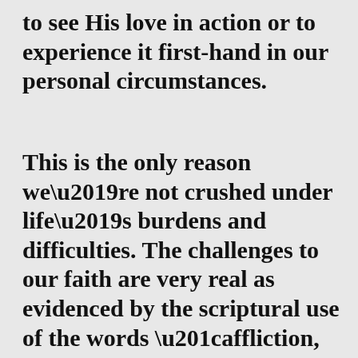to see His love in action or to experience it first-hand in our personal circumstances.
This is the only reason we're not crushed under life's burdens and difficulties. The challenges to our faith are very real as evidenced by the scriptural use of the words “affliction, bitterness, wandering, and downcast” (depressed). Yet they are outweighed by God’s love and faithfulness as they are absolutely perfect. The most